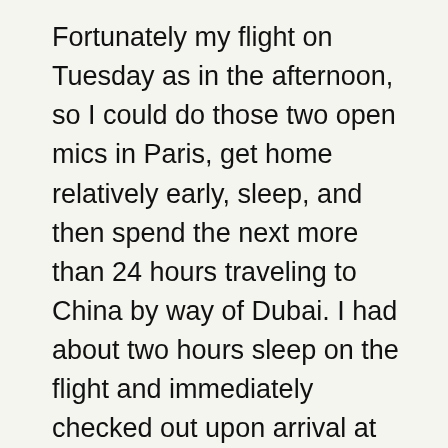Fortunately my flight on Tuesday as in the afternoon, so I could do those two open mics in Paris, get home relatively early, sleep, and then spend the next more than 24 hours traveling to China by way of Dubai. I had about two hours sleep on the flight and immediately checked out upon arrival at my hotel in the Bund area of Shanghai whether or not the open mics I had done on the Wednesday night last year still existed. I figured that although I really wanted to go to bed, I would be far better off forcing myself to stay